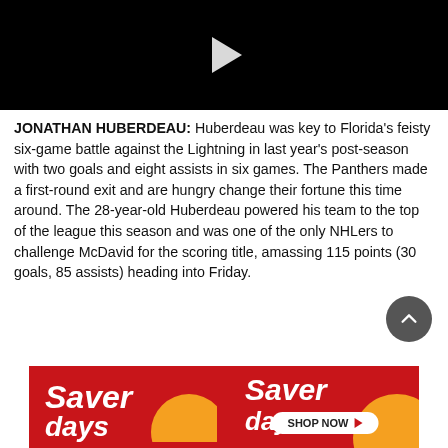[Figure (photo): Black video thumbnail with white play button icon]
JONATHAN HUBERDEAU: Huberdeau was key to Florida's feisty six-game battle against the Lightning in last year's post-season with two goals and eight assists in six games. The Panthers made a first-round exit and are hungry change their fortune this time around. The 28-year-old Huberdeau powered his team to the top of the league this season and was one of the only NHLers to challenge McDavid for the scoring title, amassing 115 points (30 goals, 85 assists) heading into Friday.
[Figure (logo): Save on Foods Saver Days advertisement banner with red left section showing 'Saver days' text and Shop Now button, and yellow right section with Save on Foods logo]